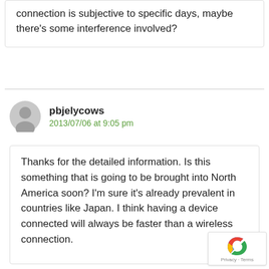connection is subjective to specific days, maybe there's some interference involved?
pbjelycows
2013/07/06 at 9:05 pm
Thanks for the detailed information. Is this something that is going to be brought into North America soon? I'm sure it's already prevalent in countries like Japan. I think having a device connected will always be faster than a wireless connection.